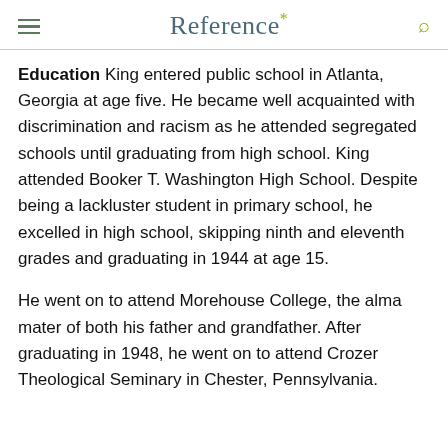Reference*
Education King entered public school in Atlanta, Georgia at age five. He became well acquainted with discrimination and racism as he attended segregated schools until graduating from high school. King attended Booker T. Washington High School. Despite being a lackluster student in primary school, he excelled in high school, skipping ninth and eleventh grades and graduating in 1944 at age 15.
He went on to attend Morehouse College, the alma mater of both his father and grandfather. After graduating in 1948, he went on to attend Crozer Theological Seminary in Chester, Pennsylvania.